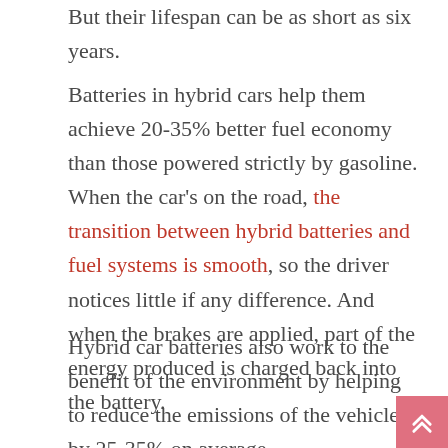But their lifespan can be as short as six years.
Batteries in hybrid cars help them achieve 20-35% better fuel economy than those powered strictly by gasoline. When the car's on the road, the transition between hybrid batteries and fuel systems is smooth, so the driver notices little if any difference. And when the brakes are applied, part of the energy produced is charged back into the battery.
Hybrid car batteries also work to the benefit of the environment by helping to reduce the emissions of the vehicle by 25-35% on average.